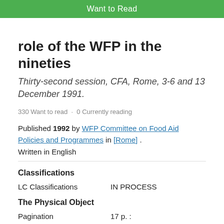[Figure (other): Green 'Want to Read' button at top]
role of the WFP in the nineties
Thirty-second session, CFA, Rome, 3-6 and 13 December 1991.
330 Want to read · 0 Currently reading
Published 1992 by WFP Committee on Food Aid Policies and Programmes in [Rome] .
Written in English
Classifications
LC Classifications    IN PROCESS
The Physical Object
Pagination    17 p. :
Number of Pages    17
ID Numbers